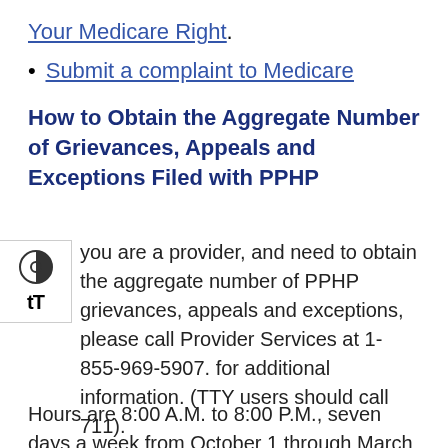Your Medicare Right. Submit a complaint to Medicare
How to Obtain the Aggregate Number of Grievances, Appeals and Exceptions Filed with PPHP
If you are a provider, and need to obtain the aggregate number of PPHP grievances, appeals and exceptions, please call Provider Services at 1-855-969-5907. for additional information. (TTY users should call 711).
Hours are 8:00 A.M. to 8:00 P.M., seven days a week from October 1 through March 31;